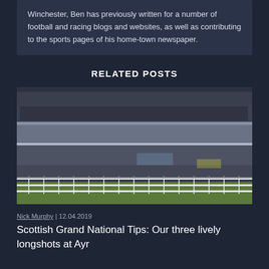Winchester, Ben has previously written for a number of football and racing blogs and websites, as well as contributing to the sports pages of his home-town newspaper.
RELATED POSTS
[Figure (photo): A large horse racing grandstand packed with spectators, viewed from trackside. The stand has multiple tiers with white railings and a classic Victorian-era structure. The foreground shows white rail fencing along the track with a green grass area.]
Nick Murphy | 12.04.2019
Scottish Grand National Tips: Our three lively longshots at Ayr